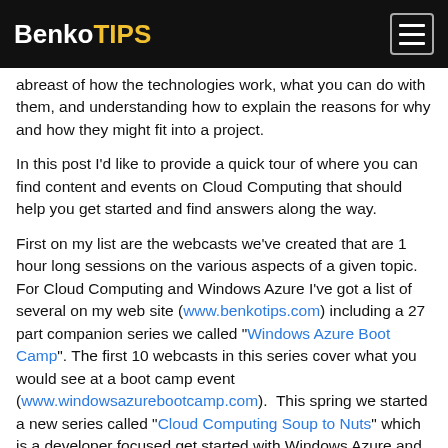BenkoTIPS
abreast of how the technologies work, what you can do with them, and understanding how to explain the reasons for why and how they might fit into a project.
In this post I'd like to provide a quick tour of where you can find content and events on Cloud Computing that should help you get started and find answers along the way.
First on my list are the webcasts we've created that are 1 hour long sessions on the various aspects of a given topic. For Cloud Computing and Windows Azure I've got a list of several on my web site (www.benkotips.com) including a 27 part companion series we called "Windows Azure Boot Camp". The first 10 webcasts in this series cover what you would see at a boot camp event (www.windowsazurebootcamp.com).  This spring we started a new series called "Cloud Computing Soup to Nuts" which is a developer focused get started with Windows Azure and the related services. We've recorded 6 webcasts as part of that series and will be adding more as we go forward. We just added 3 more for April including:
If... First Ten Get Sto... to w/ Windows A...